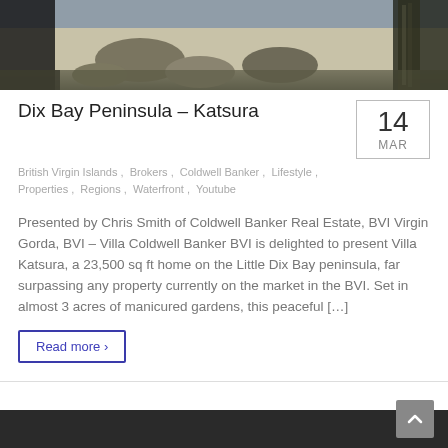[Figure (photo): Aerial/beach photo showing sandy beach with rocks and tropical vegetation, dark edges]
Dix Bay Peninsula – Katsura
British Virgin Islands, Brokers, Coldwell Banker, Lifestyle, Properties, Regions, Waterfront, Youtube
Presented by Chris Smith of Coldwell Banker Real Estate, BVI Virgin Gorda, BVI – Villa Coldwell Banker BVI is delighted to present Villa Katsura, a 23,500 sq ft home on the Little Dix Bay peninsula, far surpassing any property currently on the market in the BVI. Set in almost 3 acres of manicured gardens, this peaceful […]
Read more >
[Figure (photo): Dark footer area with scroll-to-top button]